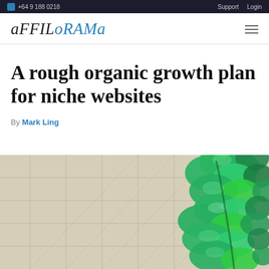+64 9 188 0210   Support   Login
aFFILoRAMA
A rough organic growth plan for niche websites
By Mark Ling
[Figure (photo): A photo showing a climbing green ivy plant growing up against a beige grid-patterned background, representing organic growth.]